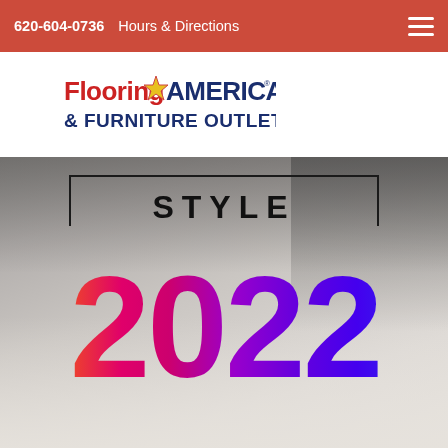620-604-0736   Hours & Directions
[Figure (logo): Flooring America & Furniture Outlet logo with red and blue text and a star icon]
[Figure (infographic): Style 2022 promotional hero image with blurred bedroom background and large colorful gradient '2022' text below 'STYLE' in a rectangular frame outline]